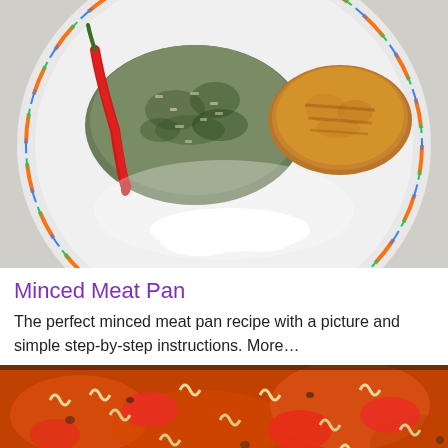[Figure (photo): A white decorative plate with colorful rim pattern containing a mound of spinach and minced meat rice mixture, a golden-brown breaded cutlet, a red chili pepper, and a drizzle of white cream sauce]
Minced Meat Pan
The perfect minced meat pan recipe with a picture and simple step-by-step instructions. More...
[Figure (photo): A pan filled with fusilli pasta in a rich tomato sauce with minced meat and red bell peppers]